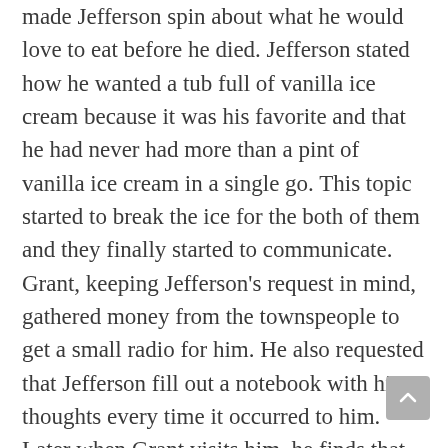made Jefferson spin about what he would love to eat before he died. Jefferson stated how he wanted a tub full of vanilla ice cream because it was his favorite and that he had never had more than a pint of vanilla ice cream in a single go. This topic started to break the ice for the both of them and they finally started to communicate. Grant, keeping Jefferson's request in mind, gathered money from the townspeople to get a small radio for him. He also requested that Jefferson fill out a notebook with his thoughts every time it occurred to him. Later when Grant visits him, he finds that the notebook was filled out. All the pages in the notebook were filled with writing about the difference of hog and men. This clearly showed how hurt Jefferson had been after the words of the white defense lawyer.